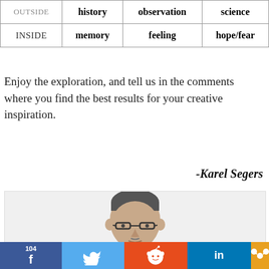|  | history | observation | science |
| --- | --- | --- | --- |
| OUTSIDE | history | observation | science |
| INSIDE | memory | feeling | hope/fear |
Enjoy the exploration, and tell us in the comments where you find the best results for your creative inspiration.
-Karel Segers
[Figure (photo): Portrait photo of a man with glasses and short hair, partial view showing face]